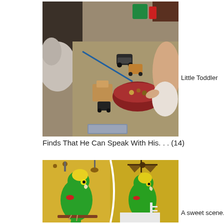[Figure (photo): A toddler playing on the floor with toy cars and a dog visible on the left side]
Little Toddler
Finds That He Can Speak With His. . . (14)
[Figure (photo): Two side-by-side images of a green Amazon parrot perched in a yellow room]
A sweet scene.